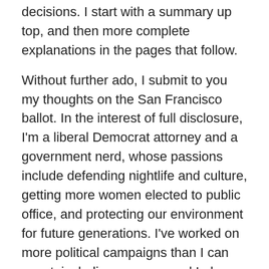decisions. I start with a summary up top, and then more complete explanations in the pages that follow.
Without further ado, I submit to you my thoughts on the San Francisco ballot. In the interest of full disclosure, I'm a liberal Democrat attorney and a government nerd, whose passions include defending nightlife and culture, getting more women elected to public office, and protecting our environment for future generations. I've worked on more political campaigns than I can count, including my own, and I also like long walks on the beach.
For my complete voter guide on the California measures, go here.
For the super simple, easy-to-take-to-the-polls version, go here.